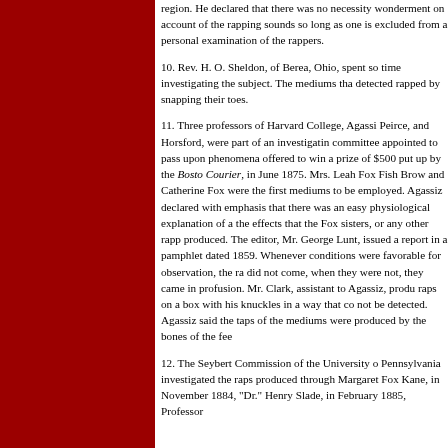region. He declared that there was no necessity wonderment on account of the rapping sounds so long as one is excluded from a personal examination of the rappers.
10. Rev. H. O. Sheldon, of Berea, Ohio, spent some time investigating the subject. The mediums that he detected rapped by snapping their toes.
11. Three professors of Harvard College, Agassiz, Peirce, and Horsford, were part of an investigating committee appointed to pass upon phenomena offered to win a prize of $500 put up by the Boston Courier, in June 1875. Mrs. Leah Fox Fish Brown and Catherine Fox were the first mediums to be employed. Agassiz declared with emphasis that there was an easy physiological explanation of all the effects that the Fox sisters, or any other rappers produced. The editor, Mr. George Lunt, issued a report in a pamphlet dated 1859. Whenever conditions were favorable for observation, the raps did not come, when they were not, they came in profusion. Mr. Clark, assistant to Agassiz, produced raps on a box with his knuckles in a way that could not be detected. Agassiz said the taps of the mediums were produced by the bones of the feet.
12. The Seybert Commission of the University of Pennsylvania investigated the raps produced through Margaret Fox Kane, in November 1884, "Dr." Henry Slade, in February 1885, Professor...